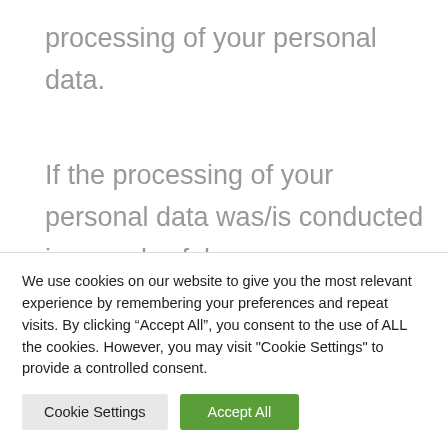processing of your personal data.
If the processing of your personal data was/is conducted in an unlawful manner, you have the option to demand the restriction of the processing of your data in lieu of demanding the
We use cookies on our website to give you the most relevant experience by remembering your preferences and repeat visits. By clicking “Accept All”, you consent to the use of ALL the cookies. However, you may visit "Cookie Settings" to provide a controlled consent.